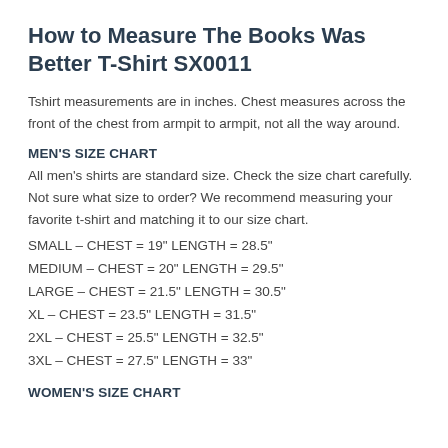How to Measure The Books Was Better T-Shirt SX0011
Tshirt measurements are in inches. Chest measures across the front of the chest from armpit to armpit, not all the way around.
MEN'S SIZE CHART
All men's shirts are standard size. Check the size chart carefully. Not sure what size to order? We recommend measuring your favorite t-shirt and matching it to our size chart.
SMALL – CHEST = 19" LENGTH = 28.5"
MEDIUM – CHEST = 20" LENGTH = 29.5"
LARGE – CHEST = 21.5" LENGTH = 30.5"
XL – CHEST = 23.5" LENGTH = 31.5"
2XL – CHEST = 25.5" LENGTH = 32.5"
3XL – CHEST = 27.5" LENGTH = 33"
WOMEN'S SIZE CHART